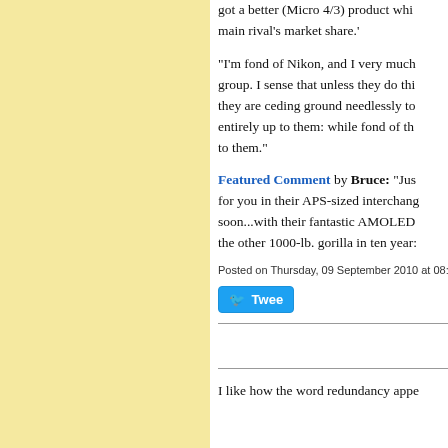got a better (Micro 4/3) product whi... main rival's market share.'
"I'm fond of Nikon, and I very much... group. I sense that unless they do thi... they are ceding ground needlessly to... entirely up to them: while fond of th... to them."
Featured Comment by Bruce: "Jus... for you in their APS-sized interchang... soon...with their fantastic AMOLED... the other 1000-lb. gorilla in ten year:
Posted on Thursday, 09 September 2010 at 08:04 AM |
Tweet
I like how the word redundancy appe...